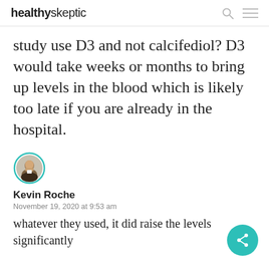healthyskeptic
study use D3 and not calcifediol? D3 would take weeks or months to bring up levels in the blood which is likely too late if you are already in the hospital.
[Figure (photo): Avatar photo of Kevin Roche, a man in a suit, circular with teal border]
Kevin Roche
November 19, 2020 at 9:53 am
whatever they used, it did raise the levels significantly